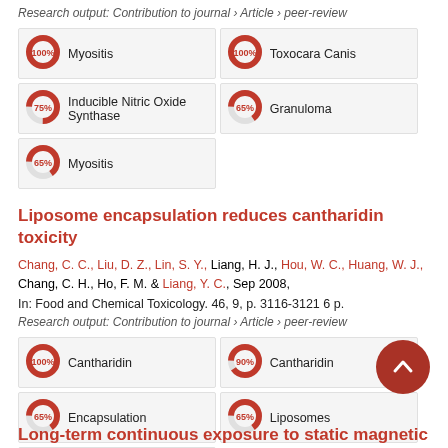Research output: Contribution to journal › Article › peer-review
[Figure (infographic): Five keyword pills with donut-chart percentage indicators: Myositis (100%), Toxocara Canis (100%), Inducible Nitric Oxide Synthase (75%), Granuloma (65%), Myositis (65%)]
Liposome encapsulation reduces cantharidin toxicity
Chang, C. C., Liu, D. Z., Lin, S. Y., Liang, H. J., Hou, W. C., Huang, W. J., Chang, C. H., Ho, F. M. & Liang, Y. C., Sep 2008, In: Food and Chemical Toxicology. 46, 9, p. 3116-3121 6 p.
Research output: Contribution to journal › Article › peer-review
[Figure (infographic): Five keyword pills with donut-chart percentage indicators: Cantharidin (100%), Cantharidin (90%), Encapsulation (65%), Liposomes (65%), Liposome (60%)]
Long-term continuous exposure to static magnetic